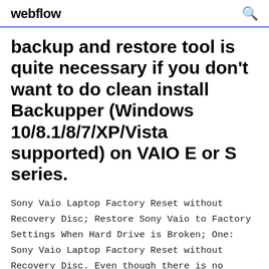webflow
backup and restore tool is quite necessary if you don't want to do clean install Backupper (Windows 10/8.1/8/7/XP/Vista supported) on VAIO E or S series.
Sony Vaio Laptop Factory Reset without Recovery Disc; Restore Sony Vaio to Factory Settings When Hard Drive is Broken; One: Sony Vaio Laptop Factory Reset without Recovery Disc. Even though there is no recovery disc available, you still could use methods below to factory reset Sony Vaio laptop. 1. Factory Reset Sony laptop with one recovery menu. How to Restore Reset a Sony Vaio to Factory